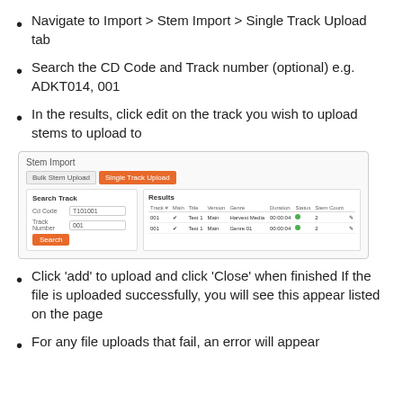Navigate to Import > Stem Import > Single Track Upload tab
Search the CD Code and Track number (optional) e.g. ADKT014, 001
In the results, click edit on the track you wish to upload stems to upload to
[Figure (screenshot): Screenshot of Stem Import interface showing Bulk Stem Upload and Single Track Upload tabs, a Search Track panel with cd code and track number fields and a Search button, and a Results panel with a table showing Track #, Main, Title, Version, Genre, Duration, Status, Stem Count columns with two rows of data.]
Click 'add' to upload and click 'Close' when finished If the file is uploaded successfully, you will see this appear listed on the page
For any file uploads that fail, an error will appear